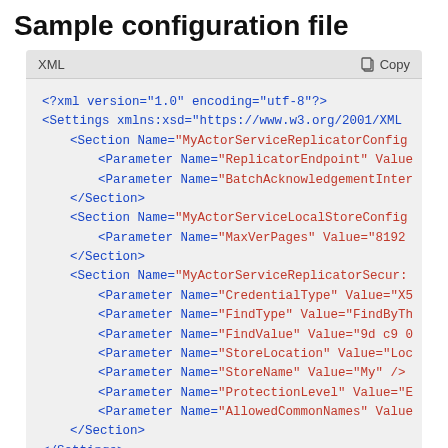Sample configuration file
[Figure (screenshot): XML code block showing a sample configuration file with Settings, Section, and Parameter XML elements. Includes a toolbar with 'XML' label and 'Copy' button. The XML content shows sections for MyActorServiceReplicatorConfig, MyActorServiceLocalStoreConfig, and MyActorServiceReplicatorSecur with various Parameter elements.]